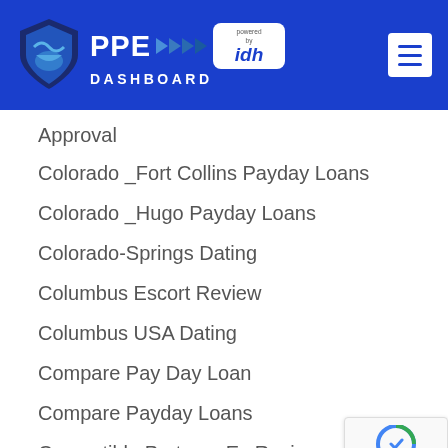PPE DASHBOARD powered by idh
Approval
Colorado _Fort Collins Payday Loans
Colorado _Hugo Payday Loans
Colorado-Springs Dating
Columbus Escort Review
Columbus USA Dating
Compare Pay Day Loan
Compare Payday Loans
Compatible Partners Es Review